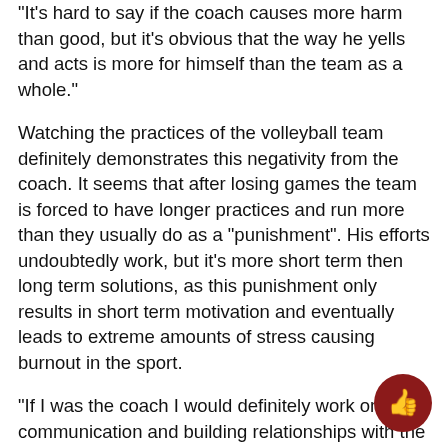"It's hard to say if the coach causes more harm than good, but it's obvious that the way he yells and acts is more for himself than the team as a whole."
Watching the practices of the volleyball team definitely demonstrates this negativity from the coach. It seems that after losing games the team is forced to have longer practices and run more than they usually do as a "punishment". His efforts undoubtedly work, but it's more short term then long term solutions, as this punishment only results in short term motivation and eventually leads to extreme amounts of stress causing burnout in the sport.
"If I was the coach I would definitely work on communication and building relationships with the players," said Doe. "I'd also work on motivating the athletes and really put myself in the shoes of the players because they aren't olympians they're high schoolers who have other stuff."